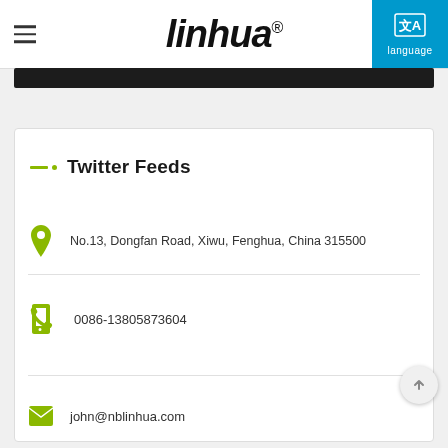linhua® — language
Twitter Feeds
No.13, Dongfan Road, Xiwu, Fenghua, China 315500
0086-13805873604
john@nblinhua.com